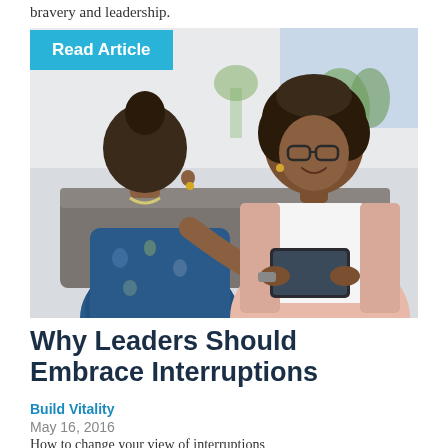bravery and leadership.
Read Article
[Figure (photo): Two women sitting on a couch having a conversation. One woman in a patterned blue dress with hair up, facing away from camera; the other woman with natural hair and glasses wearing a pink cardigan, smiling and holding a tablet.]
Why Leaders Should Embrace Interruptions
Build Vitality
May 16, 2016
How to change your view of interruptions